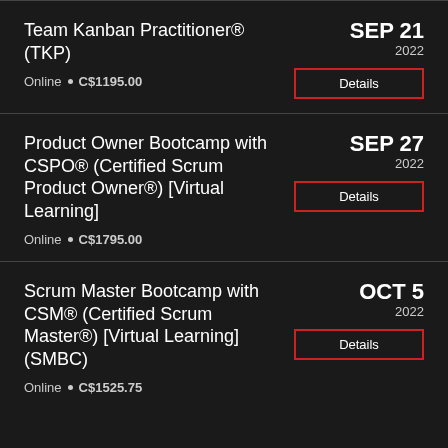Team Kanban Practitioner® (TKP)
Online · C$1195.00
SEP 21 2022
Details
Product Owner Bootcamp with CSPO® (Certified Scrum Product Owner®) [Virtual Learning]
Online · C$1795.00
SEP 27 2022
Details
Scrum Master Bootcamp with CSM® (Certified Scrum Master®) [Virtual Learning] (SMBC)
Online · C$1525.75
OCT 5 2022
Details